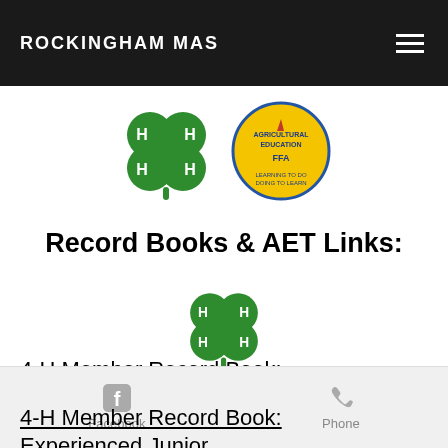ROCKINGHAM MAS
[Figure (logo): 4-H clover logo and FFA emblem logos side by side]
Record Books & AET Links:
[Figure (logo): 4-H four-leaf clover logo in green]
4-H Member Record Book: Experienced Senior
4-H Member Record Book: Experienced Junior
Facebook   Phone